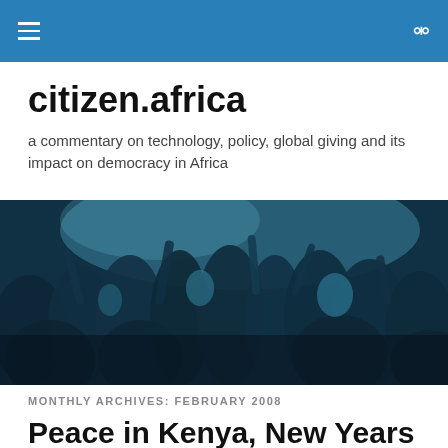citizen.africa — site navigation header with hamburger menu and search icon
citizen.africa
a commentary on technology, policy, global giving and its impact on democracy in Africa
[Figure (photo): A crowd of African people raising their hands, photographed with a blue-toned filter. Appears to be a political rally or public gathering.]
MONTHLY ARCHIVES: FEBRUARY 2008
Peace in Kenya, New Years in February and a Baby Rhino